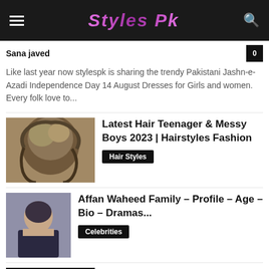Styles Pk
Sana javed
Like last year now stylespk is sharing the trendy Pakistani Jashn-e-Azadi Independence Day 14 August Dresses for Girls and women. Every folk love to...
[Figure (photo): Thumbnail of teenager with messy hair style]
Latest Hair Teenager & Messy Boys 2023 | Hairstyles Fashion
Hair Styles
[Figure (photo): Thumbnail of Affan Waheed celebrity portrait]
Affan Waheed Family – Profile – Age – Bio – Dramas...
Celebrities
[Figure (photo): Thumbnail of GuL Ahmed shoes catalog page with Black text and shoe image]
GuL Ahmed Shoes: Latest Sandals, Chappal & Slippers Collection With Prices
Shoes Style